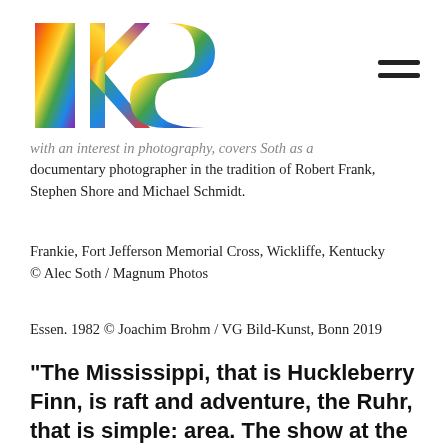[Figure (logo): IKS logo with colorful mosaic-style letters I, K, S in rainbow colors on white background]
with an interest in photography, covers Soth as a documentary photographer in the tradition of Robert Frank, Stephen Shore and Michael Schmidt.
Frankie, Fort Jefferson Memorial Cross, Wickliffe, Kentucky
© Alec Soth / Magnum Photos
Essen. 1982 © Joachim Brohm / VG Bild-Kunst, Bonn 2019
"The Mississippi, that is Huckleberry Finn, is raft and adventure, the Ruhr, that is simple: area. The show at the NRW-Forum Düsseldorf smoothly unites the association that the photo series by Joachim Brohm and Alec Soth are